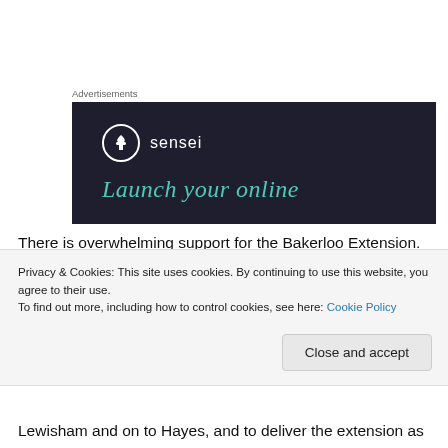[Figure (other): Advertisement banner with dark navy background featuring the Sensei logo (tree icon in circle) and the tagline 'Launch your online' in teal italic text. Labeled 'Advertisements' above.]
There is overwhelming support for the Bakerloo Extension. Over 15,000 people responded to the last TfL consultation in 2014 – their largest ever – with 96% supporting the extension. By a majority of 2 to 1, respondents backed
Privacy & Cookies: This site uses cookies. By continuing to use this website, you agree to their use.
To find out more, including how to control cookies, see here: Cookie Policy
Lewisham and on to Hayes, and to deliver the extension as